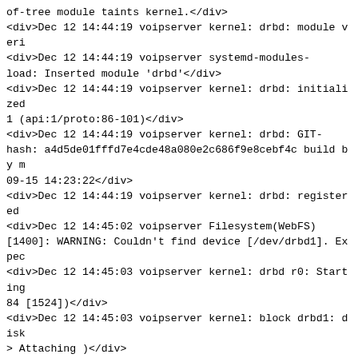of-tree module taints kernel.</div>
<div>Dec 12 14:44:19 voipserver kernel: drbd: module veri
<div>Dec 12 14:44:19 voipserver systemd-modules-
load: Inserted module 'drbd'</div>
<div>Dec 12 14:44:19 voipserver kernel: drbd: initialized
1 (api:1/proto:86-101)</div>
<div>Dec 12 14:44:19 voipserver kernel: drbd: GIT-
hash: a4d5de01fffd7e4cde48a080e2c686f9e8cebf4c build by m
09-15 14:23:22</div>
<div>Dec 12 14:44:19 voipserver kernel: drbd: registered
<div>Dec 12 14:45:02 voipserver Filesystem(WebFS)
[1400]: WARNING: Couldn't find device [/dev/drbd1]. Expec
<div>Dec 12 14:45:03 voipserver kernel: drbd r0: Starting
84 [1524])</div>
<div>Dec 12 14:45:03 voipserver kernel: block drbd1: disk
> Attaching )</div>
<div>Dec 12 14:45:03 voipserver kernel: drbd r0: Method f
<div>Dec 12 14:45:03 voipserver kernel: block drbd1: max
<div>Dec 12 14:45:03 voipserver kernel: block drbd1: drbd
<div>Dec 12 14:45:03 voipserver kernel: block drbd1: resy
<div>Dec 12 14:45:03 voipserver kernel: block drbd1: size
</div>
<div>Dec 12 14:45:03 voipserver kernel: block drbd1: reco
<div>Dec 12 14:45:03 voipserver kernel: block drbd1: 3552
of-sync by on disk bit-map.</div>
<div>Dec 12 14:45:03 voipserver kernel: block drbd1: disk
> UpToDate )</div>
<div>Dec 12 14:45:03 voipserver kernel: block drbd1: atta
<div>Dec 12 14:45:03 voipserver kernel: drbd r0: conn( St
> Unconnected )</div>